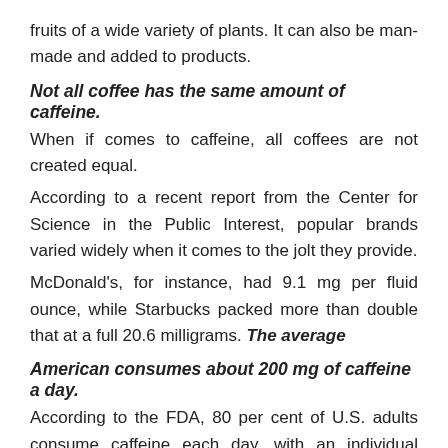fruits of a wide variety of plants. It can also be man-made and added to products.
Not all coffee has the same amount of caffeine.
When if comes to caffeine, all coffees are not created equal.
According to a recent report from the Center for Science in the Public Interest, popular brands varied widely when it comes to the jolt they provide.
McDonald's, for instance, had 9.1 mg per fluid ounce, while Starbucks packed more than double that at a full 20.6 milligrams. The average
American consumes about 200 mg of caffeine a day.
According to the FDA, 80 per cent of U.S. adults consume caffeine each day, with an individual intake of 200 mg. To put that in real world terms, the average caffeine-consuming American drinks two 150ml cups of